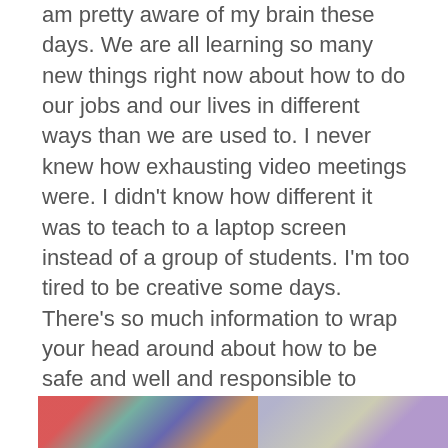am pretty aware of my brain these days. We are all learning so many new things right now about how to do our jobs and our lives in different ways than we are used to. I never knew how exhausting video meetings were. I didn't know how different it was to teach to a laptop screen instead of a group of students. I'm too tired to be creative some days. There's so much information to wrap your head around about how to be safe and well and responsible to others. Some days are easier and some are really hard.
[Figure (photo): Partial view of two photos at the bottom of the page, partially cut off]